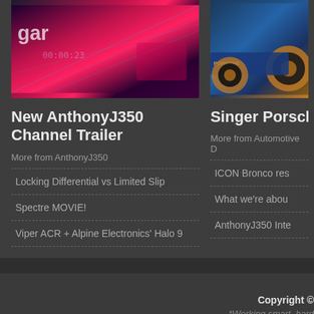[Figure (photo): Video thumbnail with pink/red racing game graphic showing 'garage' text and a timer '00:00:23']
[Figure (photo): Video thumbnail showing a blue Singer Porsche with gold/orange wheels]
New AnthonyJ350 Channel Trailer
Singer Porsche
More from AnthonyJ350
More from Automotive D
Locking Differential vs Limited Slip
Spectre MOVIE!
Viper ACR + Alpine Electronics' Halo 9
ICON Bronco res
What we're abou
AnthonyJ350 Inte
Copyright ©
*Working smart, hard